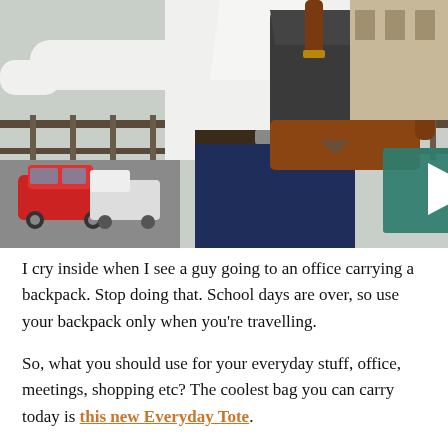[Figure (photo): A man in a white dress shirt and navy trousers leaning against a railing outdoors, carrying a large dark grey and brown leather backpack/tote bag. A red car is visible below on the street. A green video play button overlay is shown in the center of the image.]
I cry inside when I see a guy going to an office carrying a backpack. Stop doing that. School days are over, so use your backpack only when you're travelling.
So, what you should use for your everyday stuff, office, meetings, shopping etc? The coolest bag you can carry today is this new Everyday Tote.